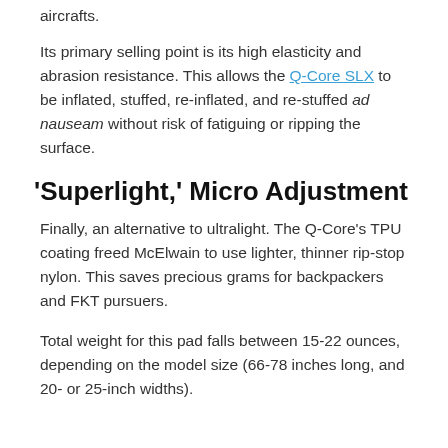aircrafts.
Its primary selling point is its high elasticity and abrasion resistance. This allows the Q-Core SLX to be inflated, stuffed, re-inflated, and re-stuffed ad nauseam without risk of fatiguing or ripping the surface.
‘Superlight,’ Micro Adjustment
Finally, an alternative to ultralight. The Q-Core’s TPU coating freed McElwain to use lighter, thinner rip-stop nylon. This saves precious grams for backpackers and FKT pursuers.
Total weight for this pad falls between 15-22 ounces, depending on the model size (66-78 inches long, and 20- or 25-inch widths).